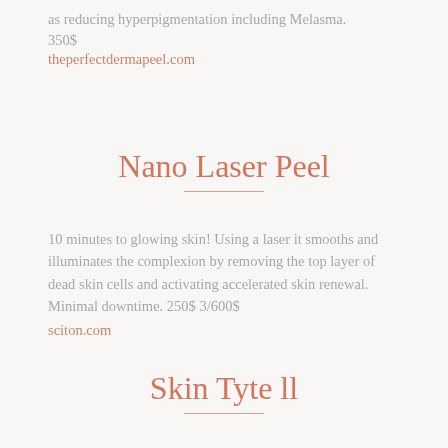as reducing hyperpigmentation including Melasma.
350$
theperfectdermapeel.com
Nano Laser Peel
10 minutes to glowing skin! Using a laser it smooths and illuminates the complexion by removing the top layer of dead skin cells and activating accelerated skin renewal. Minimal downtime. 250$ 3/600$
sciton.com
Skin Tyte ll